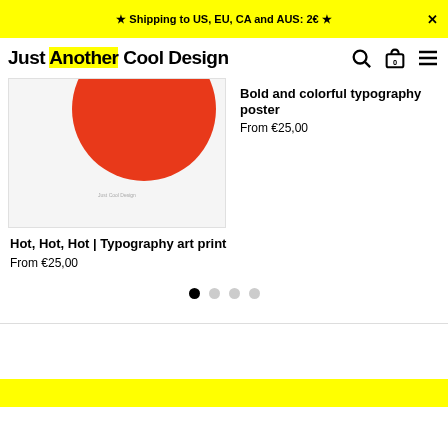★ Shipping to US, EU, CA and AUS: 2€ ★  ✕
Just Another Cool Design
[Figure (photo): Product image showing a red circle on white background poster]
Hot, Hot, Hot | Typography art print
From €25,00
Bold and colorful typography poster
From €25,00